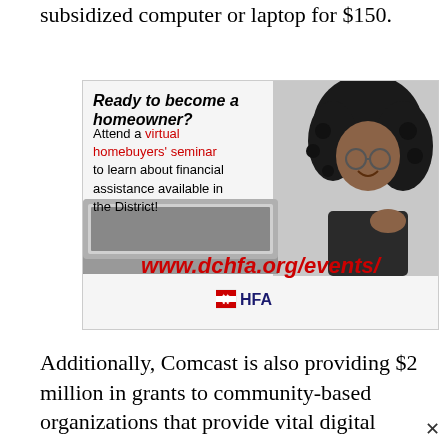subsidized computer or laptop for $150.
[Figure (infographic): Advertisement for DCHFA homebuyer seminar. Headline: 'Ready to become a homeowner?' with text 'Attend a virtual homebuyers' seminar to learn about financial assistance available in the District!' URL: www.dchfa.org/events/ with HFA logo. Shows a smiling woman with laptop.]
Additionally, Comcast is also providing $2 million in grants to community-based organizations that provide vital digital